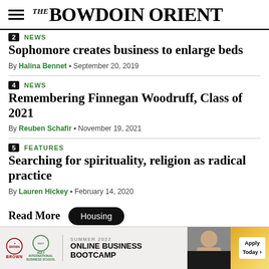THE BOWDOIN ORIENT
2 NEWS
Sophomore creates business to enlarge beds
By Halina Bennet • September 20, 2019
4 NEWS
Remembering Finnegan Woodruff, Class of 2021
By Reuben Schafir • November 19, 2021
5 FEATURES
Searching for spirituality, religion as radical practice
By Lauren Hickey • February 14, 2020
Read More Housing
[Figure (other): Brown University and Hult International Business School advertisement for Summer 2022 Online Business Bootcamp with Apply Today button]